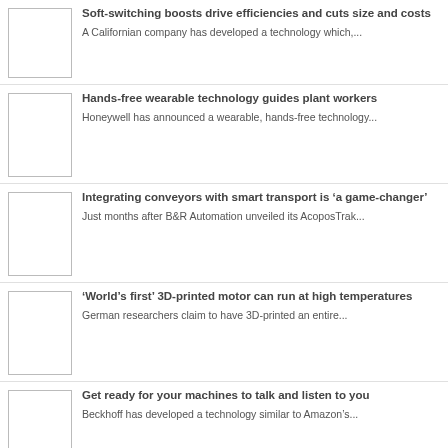Soft-switching boosts drive efficiencies and cuts size and costs
A Californian company has developed a technology which,...
Hands-free wearable technology guides plant workers
Honeywell has announced a wearable, hands-free technology...
Integrating conveyors with smart transport is 'a game-changer'
Just months after B&R Automation unveiled its AcoposTrak...
'World's first' 3D-printed motor can run at high temperatures
German researchers claim to have 3D-printed an entire...
Get ready for your machines to talk and listen to you
Beckhoff has developed a technology similar to Amazon's...
5G demo heralds 'wireless' PLCs of the future
At the recent Hannover Fair, the Chinese electronics...